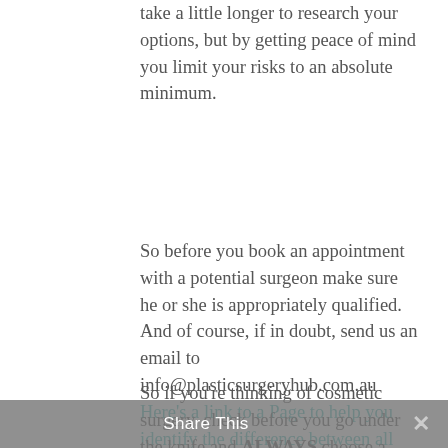take a little longer to research your options, but by getting peace of mind you limit your risks to an absolute minimum.
So before you book an appointment with a potential surgeon make sure he or she is appropriately qualified. And of course, if in doubt, send us an email to info@plasticsurgeryhub.com.au Here's a link to a Page to help you identify the difference between all the initials and qualifications of surgeons and doctors.
So if you're thinking of cosmetic surgery, check before you go under the knife and ALWAYS choose a Specialist Plastic Surgeon!
Share This ×